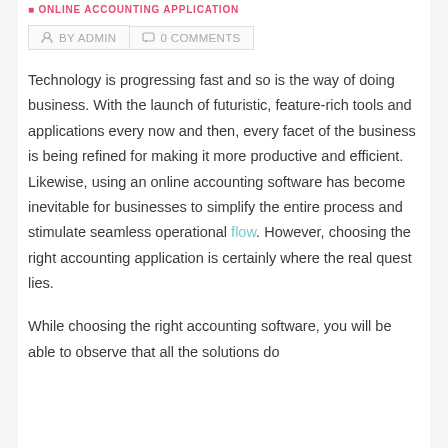ONLINE ACCOUNTING APPLICATION
BY ADMIN   0 COMMENTS
Technology is progressing fast and so is the way of doing business. With the launch of futuristic, feature-rich tools and applications every now and then, every facet of the business is being refined for making it more productive and efficient. Likewise, using an online accounting software has become inevitable for businesses to simplify the entire process and stimulate seamless operational flow. However, choosing the right accounting application is certainly where the real quest lies.
While choosing the right accounting software, you will be able to observe that all the solutions do